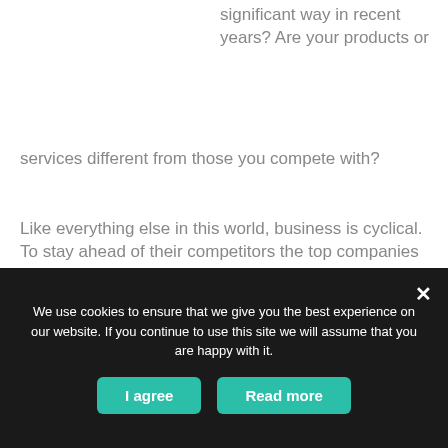significant way in recent years? Are your products or services different from those you compete with?
Like everything else in this world, business is cyclical. To stay ahead of their competitors the top companies evolve; they change their image, offer new and better products and services and constantly work to innovate, inspire and stand out from the crowd.
We use cookies to ensure that we give you the best experience on our website. If you continue to use this site we will assume that you are happy with it.